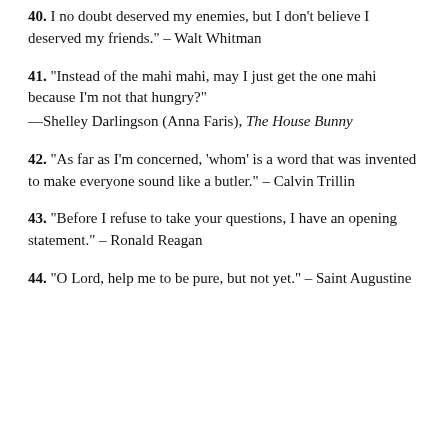40. "I no doubt deserved my enemies, but I don't believe I deserved my friends." – Walt Whitman
41. "Instead of the mahi mahi, may I just get the one mahi because I'm not that hungry?" —Shelley Darlingson (Anna Faris), The House Bunny
42. "As far as I'm concerned, 'whom' is a word that was invented to make everyone sound like a butler." – Calvin Trillin
43. "Before I refuse to take your questions, I have an opening statement." – Ronald Reagan
44. "O Lord, help me to be pure, but not yet." – Saint Augustine